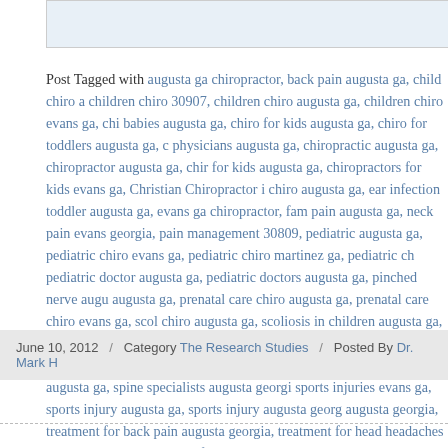[Figure (photo): Partial image visible at top of page, appears to be a photo with blue tones]
Post Tagged with augusta ga chiropractor, back pain augusta ga, child chiro augusta, children chiro 30907, children chiro augusta ga, children chiro evans ga, chil babies augusta ga, chiro for kids augusta ga, chiro for toddlers augusta ga, ch physicians augusta ga, chiropractic augusta ga, chiropractor augusta ga, chiro for kids augusta ga, chiropractors for kids evans ga, Christian Chiropractor i chiro augusta ga, ear infection toddler augusta ga, evans ga chiropractor, fam pain augusta ga, neck pain evans georgia, pain management 30809, pediatric augusta ga, pediatric chiro evans ga, pediatric chiro martinez ga, pediatric ch pediatric doctor augusta ga, pediatric doctors augusta ga, pinched nerve augu augusta ga, prenatal care chiro augusta ga, prenatal care chiro evans ga, scol chiro augusta ga, scoliosis in children augusta ga, scoliosis treatment augusta ga, sinus headaches augusta georgia, spinal adjustments augusta ga, spine do augusta georgia, spine specialist augusta ga, spine specialists augusta georgia sports injuries evans ga, sports injury augusta ga, sports injury augusta georg augusta georgia, treatment for back pain augusta georgia, treatment for head headaches augusta georgia, treatment for headaches evans georgia, treatment treatment for migraines appling georgia, treatment for migraines augusta geo
June 10, 2012  /  Category The Research Studies  /  Posted By Dr. Mark H